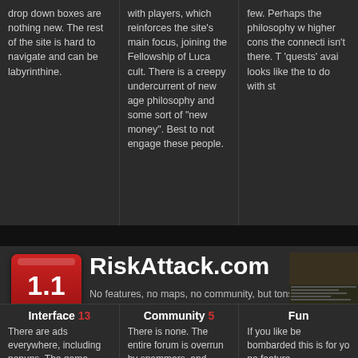drop down boxes are nothing new. The rest of the site is hard to navigate and can be labyrinthine.
with players, which reinforces the site's main focus, joining the Fellowship of Luca cult. There is a creepy undercurrent of new age philosophy and some sort of "new money". Best to not engage these people.
few. Perhaps the philosophy w... higher cons... the connecti... isn't there. T... 'quests' avai... looks like the... to do with st...
RiskAttack.com
No features, no maps, no community, but tons of spam and ads.
[Figure (screenshot): Screenshot thumbnail of RiskAttack.com website]
Interface 13
There are ads everywhere, including popups. The game interface uses drop down
Community 5
There is none. The entire forum is overrun by spammers, and alternate options for connecting
Fun
If you like be... bombarded... this is for yo... no feature...